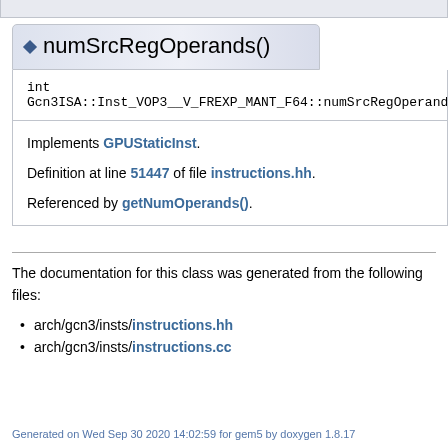numSrcRegOperands()
int Gcn3ISA::Inst_VOP3__V_FREXP_MANT_F64::numSrcRegOperands
Implements GPUStaticInst.
Definition at line 51447 of file instructions.hh.
Referenced by getNumOperands().
The documentation for this class was generated from the following files:
arch/gcn3/insts/instructions.hh
arch/gcn3/insts/instructions.cc
Generated on Wed Sep 30 2020 14:02:59 for gem5 by doxygen 1.8.17